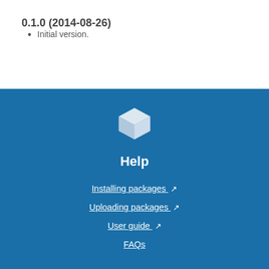0.1.0 (2014-08-26)
Initial version.
[Figure (illustration): White 3D cube/box icon on blue background]
Help
Installing packages
Uploading packages
User guide
FAQs